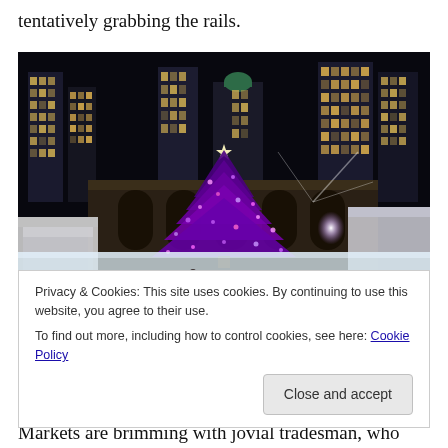tentatively grabbing the rails.
[Figure (photo): Night scene of an outdoor ice skating rink at Bryant Park, New York City. A large decorated Christmas tree with a bright star on top is centered. Tall illuminated skyscrapers fill the background against a dark sky. Skaters fill the rink and market stalls/tents are visible on the sides. The scene is festive with purple and white lights.]
Privacy & Cookies: This site uses cookies. By continuing to use this website, you agree to their use.
To find out more, including how to control cookies, see here: Cookie Policy
Markets are brimming with jovial tradesman, who